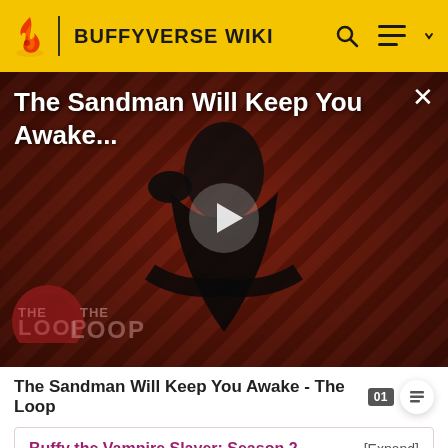BUFFYVERSE WIKI
[Figure (screenshot): Video thumbnail for 'The Sandman Will Keep You Awake - The Loop'. Shows a dark figure in a black cape holding a crow against a red and black diagonal striped background. A play button is overlaid in the center. 'THE LOOP' logo text is visible at the bottom left. An X close button is at the top right.]
The Sandman Will Keep You Awake - The Loop
Buffy the Vampire Slayer: Season 2
[Expand]